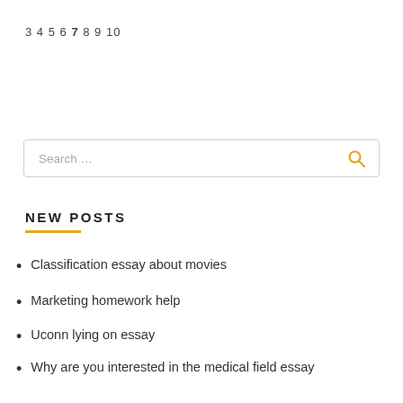3 4 5 6 7 8 9 10
[Figure (other): Search box with placeholder text 'Search ...' and a yellow magnifying glass icon on the right]
NEW POSTS
Classification essay about movies
Marketing homework help
Uconn lying on essay
Why are you interested in the medical field essay
Essay topics for elementary school